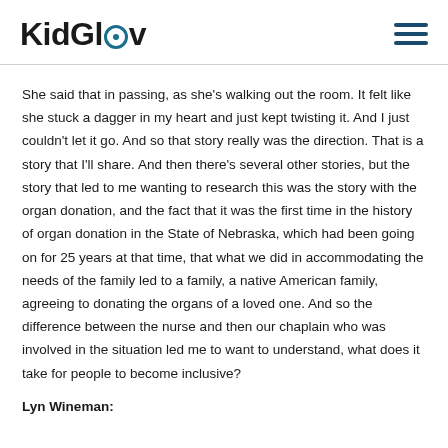KidGlov
She said that in passing, as she's walking out the room. It felt like she stuck a dagger in my heart and just kept twisting it. And I just couldn't let it go. And so that story really was the direction. That is a story that I'll share. And then there's several other stories, but the story that led to me wanting to research this was the story with the organ donation, and the fact that it was the first time in the history of organ donation in the State of Nebraska, which had been going on for 25 years at that time, that what we did in accommodating the needs of the family led to a family, a native American family, agreeing to donating the organs of a loved one. And so the difference between the nurse and then our chaplain who was involved in the situation led me to want to understand, what does it take for people to become inclusive?
Lyn Wineman: